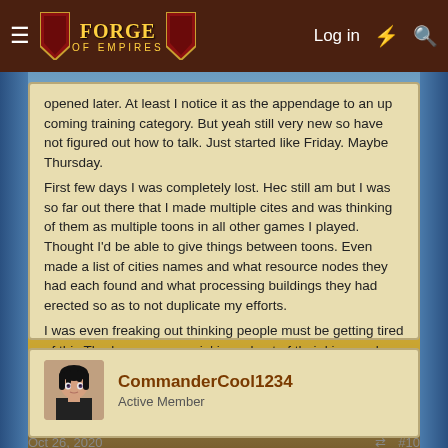Forge of Empires — Log in
opened later. At least I notice it as the appendage to an up coming training category. But yeah still very new so have not figured out how to talk. Just started like Friday. Maybe Thursday.
First few days I was completely lost. Hec still am but I was so far out there that I made multiple cites and was thinking of them as multiple toons in all other games I played. Thought I'd be able to give things between toons. Even made a list of cities names and what resource nodes they had each found and what processing buildings they had erected so as to not duplicate my efforts.
I was even freaking out thinking people must be getting tired of this Tharkunn guy poppin' in and out of their kins, and wondered how they would tell the difference between the various mes.
CommanderCool1234
Active Member
Oct 26, 2020   #10